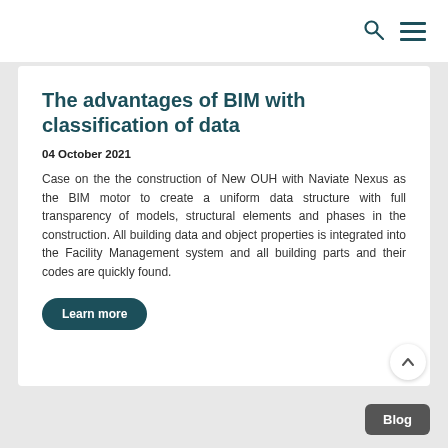The advantages of BIM with classification of data
04 October 2021
Case on the the construction of New OUH with Naviate Nexus as the BIM motor to create a uniform data structure with full transparency of models, structural elements and phases in the construction. All building data and object properties is integrated into the Facility Management system and all building parts and their codes are quickly found.
Learn more
Blog